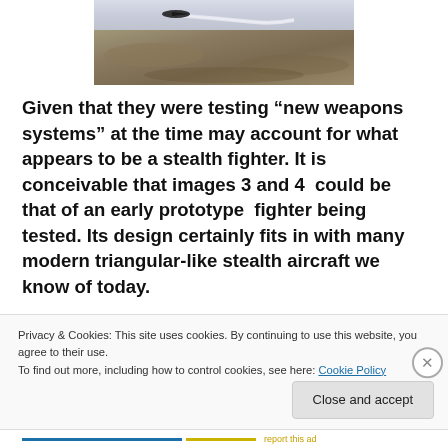[Figure (photo): Aerial photograph showing a stealth-like aircraft flying over desert/arid terrain, viewed from above. Aircraft appears dark against light landscape.]
Given that they were testing “new weapons systems” at the time may account for what appears to be a stealth fighter. It is conceivable that images 3 and 4  could be that of an early prototype  fighter being tested. Its design certainly fits in with many modern triangular-like stealth aircraft we know of today.
Privacy & Cookies: This site uses cookies. By continuing to use this website, you agree to their use.
To find out more, including how to control cookies, see here: Cookie Policy